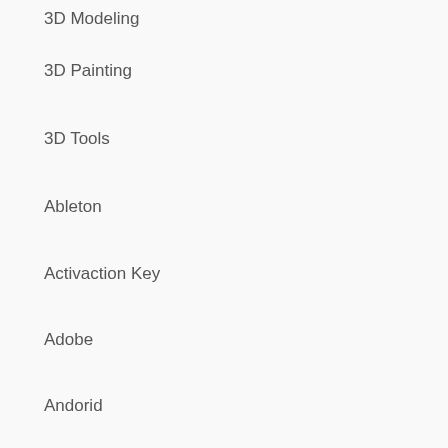3D Modeling
3D Painting
3D Tools
Ableton
Activaction Key
Adobe
Andorid
Andorid Apps
Android Apps
Anti Virus
Appliacation
Application